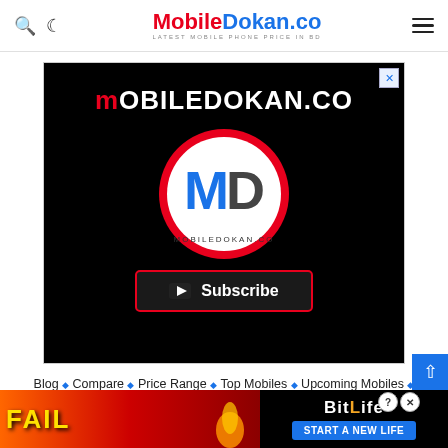MobileDokan.co — Latest Mobile Phone Price in BD
[Figure (logo): MobileDokan.co advertisement banner with logo — black background with red circle logo, MD letters, and Subscribe button]
Blog ◆ Compare ◆ Price Range ◆ Top Mobiles ◆ Upcoming Mobiles ◆ Rumored Mobiles ◆ Smartphones ◆ Tablets ◆ Smartwatches ◆ Smart
[Figure (screenshot): BitLife game advertisement — FAIL text with cartoon character, flames, BitLife logo and START A NEW LIFE button]